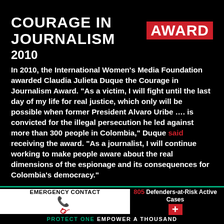COURAGE IN JOURNALISM AWARD 2010
In 2010, the International Women's Media Foundation awarded Claudia Julieta Duque the Courage in Journalism Award. “As a victim, I will fight until the last day of my life for real justice, which only will be possible when former President Alvaro Uribe …. is convicted for the illegal persecution he led against more than 300 people in Colombia,” Duque said receiving the award. “As a journalist, I will continue working to make people aware about the real dimensions of the espionage and its consequences for Colombia’s democracy.”
EMERGENCY CONTACT
805 Defenders-at-Risk Active Cases
PROTECT ONE EMPOWER A THOUSAND